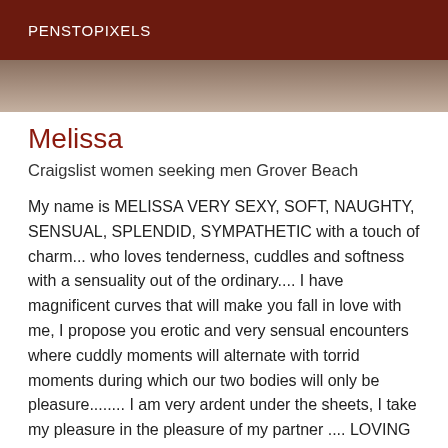PENSTOPIXELS
[Figure (photo): Partial view of a person, muted brown/tan tones, cropped at the top of the page]
Melissa
Craigslist women seeking men Grover Beach
My name is MELISSA VERY SEXY, SOFT, NAUGHTY, SENSUAL, SPLENDID, SYMPATHETIC with a touch of charm... who loves tenderness, cuddles and softness with a sensuality out of the ordinary.... I have magnificent curves that will make you fall in love with me, I propose you erotic and very sensual encounters where cuddly moments will alternate with torrid moments during which our two bodies will only be pleasure........ I am very ardent under the sheets, I take my pleasure in the pleasure of my partner .... LOVING THE HOT SPERM on my body, on my face, on my buttocks and on my chest. J'EMBRASSE, 69, several kinds of massages (Relaxation massages, soft, erotic, bodybody) change of caresses, protected or natural blowjob greedy, Spanish